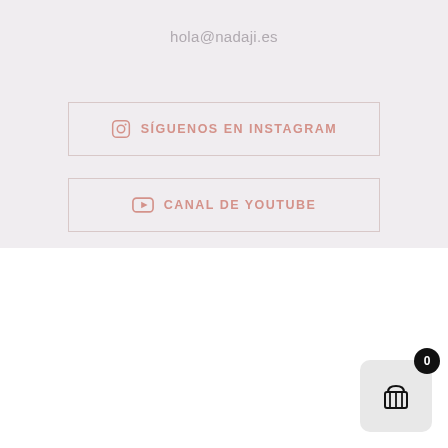hola@nadaji.es
[Figure (screenshot): Instagram follow button with icon and text SÍGUENOS EN INSTAGRAM]
[Figure (screenshot): YouTube channel button with icon and text CANAL DE YOUTUBE]
Usamos cookies en nuestro sitio web para brindarle la experiencia más relevante recordando sus preferencias y visitas repetidas. Al hacer clic en "Aceptar todo", acepta el uso de TODAS las cookies. Sin embargo, puede visitar "Configuración de cookies" para proporcionar un consentimiento controlado.
Cookie Settings
Aceptar todo